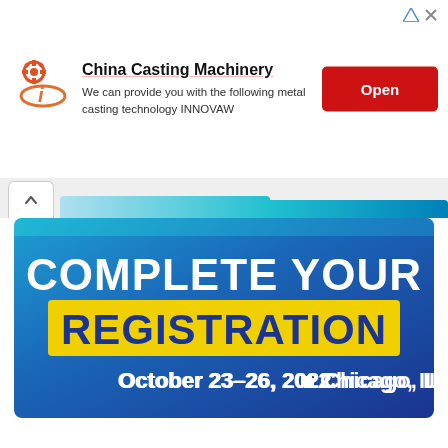[Figure (infographic): Advertisement banner for China Casting Machinery with logo, text description, and Open button]
China Casting Machinery
We can provide you with the following metal casting technology INNOVAW
[Figure (infographic): Complete Your Registration banner for an event: October 23-26, 2022, Chicago, IL USA]
COMPLETE YOUR REGISTRATION October 23-26, 2022 ■ Chicago, IL USA